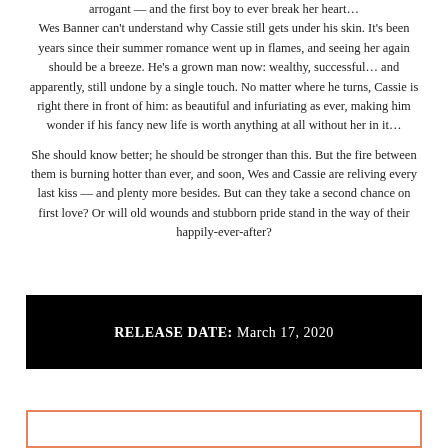arrogant — and the first boy to ever break her heart… Wes Banner can't understand why Cassie still gets under his skin. It's been years since their summer romance went up in flames, and seeing her again should be a breeze. He's a grown man now: wealthy, successful… and apparently, still undone by a single touch. No matter where he turns, Cassie is right there in front of him: as beautiful and infuriating as ever, making him wonder if his fancy new life is worth anything at all without her in it…
She should know better; he should be stronger than this. But the fire between them is burning hotter than ever, and soon, Wes and Cassie are reliving every last kiss — and plenty more besides. But can they take a second chance on first love? Or will old wounds and stubborn pride stand in the way of their happily-ever-after?
RELEASE DATE: March 17, 2020